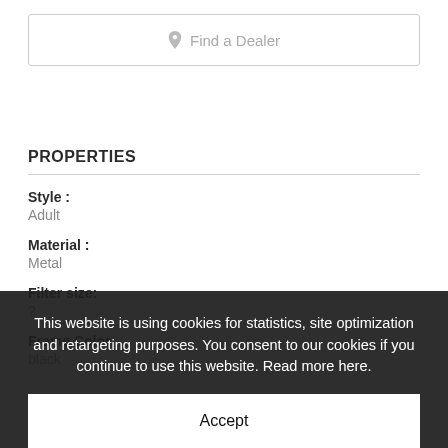Find a Dealer
PROPERTIES
Style :
Adult
Material :
Metal
Filter size:
?
Frame Color:
black
This website is using cookies for statistics, site optimization and retargeting purposes. You consent to our cookies if you continue to use this website. Read more here.
Accept